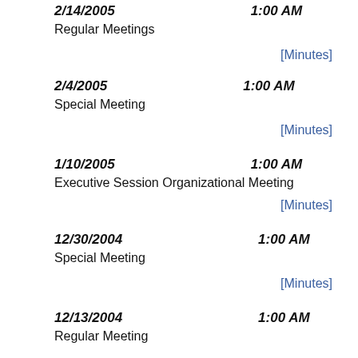2/14/2005   1:00 AM
Regular Meetings
[Minutes]
2/4/2005   1:00 AM
Special Meeting
[Minutes]
1/10/2005   1:00 AM
Executive Session Organizational Meeting
[Minutes]
12/30/2004   1:00 AM
Special Meeting
[Minutes]
12/13/2004   1:00 AM
Regular Meeting